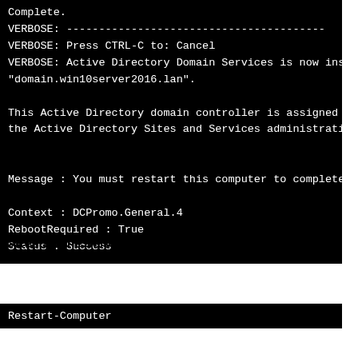Complete.
VERBOSE: ----------------------------------------
VERBOSE: Press CTRL-C to: Cancel
VERBOSE: Active Directory Domain Services is now installed on "domain.win10server2016.lan".

This Active Directory domain controller is assigned to the site "D the Active Directory Sites and Services administrative tool.


Message        : You must restart this computer to complete the op

Context        : DCPromo.General.4
RebootRequired : True
Status         : Success
#Restart the server.
Restart-Computer